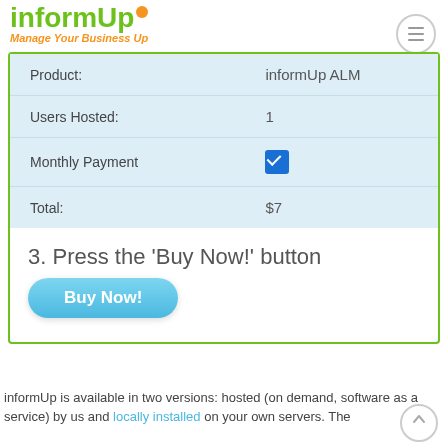[Figure (logo): informUp logo with green text and orange dot, tagline 'Manage Your Business Up']
| Product: | informUp ALM |
| Users Hosted: | 1 |
| Monthly Payment | ☑ |
| Total: | $7 |
3. Press the 'Buy Now!' button
[Figure (screenshot): Blue 'Buy Now!' rounded button]
informUp is available in two versions: hosted (on demand, software as a service) by us and locally installed on your own servers. The